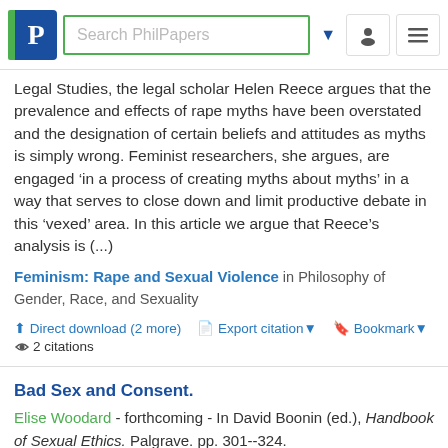Search PhilPapers
Legal Studies, the legal scholar Helen Reece argues that the prevalence and effects of rape myths have been overstated and the designation of certain beliefs and attitudes as myths is simply wrong. Feminist researchers, she argues, are engaged ‘in a process of creating myths about myths’ in a way that serves to close down and limit productive debate in this ‘vexed’ area. In this article we argue that Reece’s analysis is (...)
Feminism: Rape and Sexual Violence in Philosophy of Gender, Race, and Sexuality
Direct download (2 more)  Export citation  Bookmark   2 citations
Bad Sex and Consent.
Elise Woodard - forthcoming - In David Boonin (ed.), Handbook of Sexual Ethics. Palgrave. pp. 301--324.
It is widely accepted that consent is a normative power. For instance, consent can make an impermissible act permissible. In the words of Heidi Hurd, it “turns a trespass